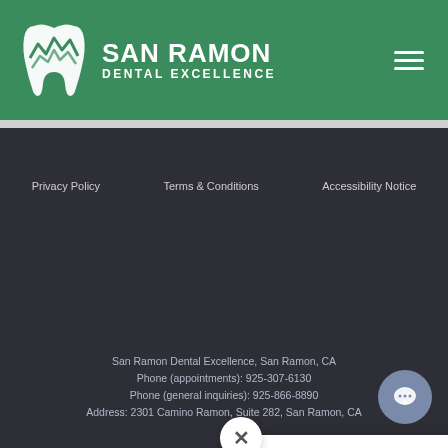SAN RAMON DENTAL EXCELLENCE
Privacy Policy   Terms & Conditions   Accessibility Notice
[Figure (infographic): Chat popup overlay with close (X) button and message: Have a question? Message us here!]
San Ramon Dental Excellence, San Ramon, CA
Phone (appointments): 925-307-6130
Phone (general inquiries): 925-866-8890
Address: 2301 Camino Ramon, Suite 282, San Ramon, CA